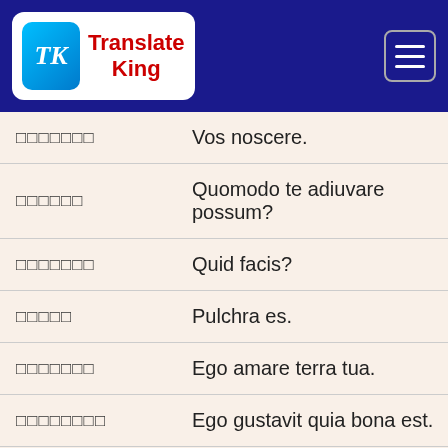Translate King
| Source | Translation |
| --- | --- |
| □□□□□□□ | Vos noscere. |
| □□□□□□ | Quomodo te adiuvare possum? |
| □□□□□□□ | Quid facis? |
| □□□□□ | Pulchra es. |
| □□□□□□□ | Ego amare terra tua. |
| □□□□□□□□ | Ego gustavit quia bona est. |
| □□□□□ | Doleo. |
| □□□□□□ | Quid facitis? |
| □□□□□□□ | Cras autem tu liberum? |
| □□□□□□□□ | Fabulamur cum te grata fuit. |